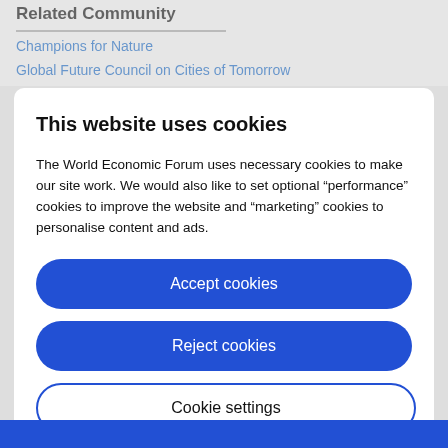Related Community
Champions for Nature
Global Future Council on Cities of Tomorrow
This website uses cookies
The World Economic Forum uses necessary cookies to make our site work. We would also like to set optional "performance" cookies to improve the website and "marketing" cookies to personalise content and ads.
Accept cookies
Reject cookies
Cookie settings